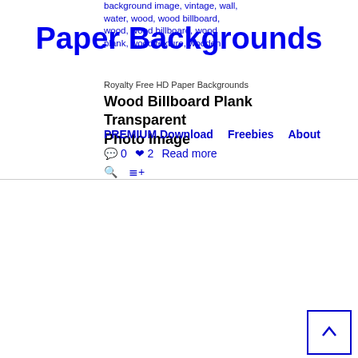background image, vintage, wall, water, wood, wood billboard, wood plank, wood texture, wooden
Paper Backgrounds
Royalty Free HD Paper Backgrounds
Wood Billboard Plank Transparent Photo Image
PREMIUM Download    Freebies    About
💬 0   ♥ 2   Read more
🔍   ≡+
Blue Wall Texture Vintage Background
December 6, 2012 by admin_x in category Abstract Backgrounds, Vintage Backgrounds, Wall Textures tagged as 4th, abstract, ad, announcement, antique, art